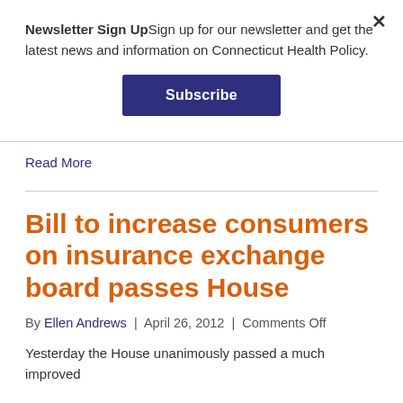Newsletter Sign UpSign up for our newsletter and get the latest news and information on Connecticut Health Policy.
Subscribe
Read More
Bill to increase consumers on insurance exchange board passes House
By Ellen Andrews | April 26, 2012 | Comments Off
Yesterday the House unanimously passed a much improved